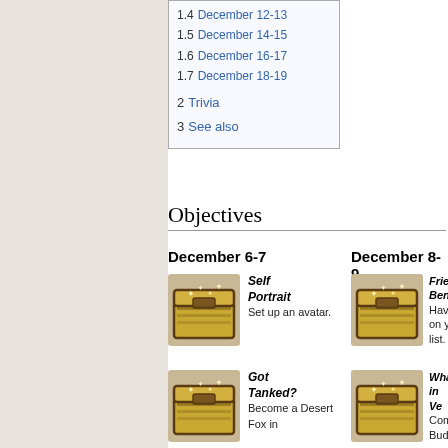1.4 December 12-13
1.5 December 14-15
1.6 December 16-17
1.7 December 18-19
2 Trivia
3 See also
Objectives
December 6-7
December 8-9
[Figure (illustration): Treasure chest icon for Self Portrait objective]
Self Portrait
Set up an avatar.
[Figure (illustration): Treasure chest icon for Friend/Benefactor objective]
Have on your list.
[Figure (illustration): Treasure chest icon for Got Tanked? objective]
Got Tanked?
Become a Desert Fox in
[Figure (illustration): Treasure chest icon for What in Vegas objective]
What in Ve... Com... Budd...